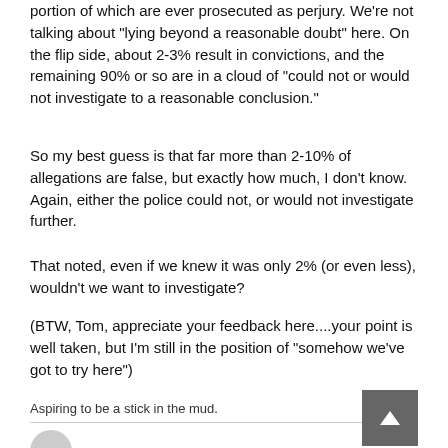portion of which are ever prosecuted as perjury. We're not talking about "lying beyond a reasonable doubt" here. On the flip side, about 2-3% result in convictions, and the remaining 90% or so are in a cloud of "could not or would not investigate to a reasonable conclusion."
So my best guess is that far more than 2-10% of allegations are false, but exactly how much, I don't know. Again, either the police could not, or would not investigate further.
That noted, even if we knew it was only 2% (or even less), wouldn't we want to investigate?
(BTW, Tom, appreciate your feedback here....your point is well taken, but I'm still in the position of "somehow we've got to try here")
Aspiring to be a stick in the mud.